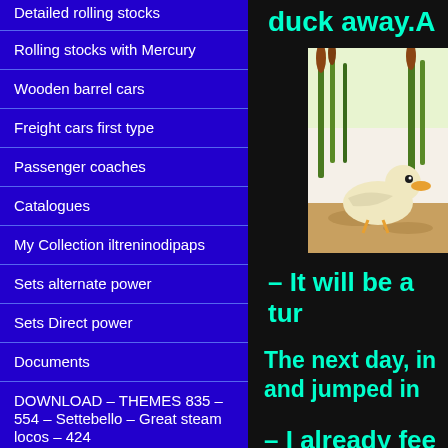Detailed rolling stocks
Rolling stocks with Mercury
Wooden barrel cars
Freight cars first type
Passenger coaches
Catalogues
My Collection iltreninodipaps
Sets alternate power
Sets Direct power
Documents
DOWNLOAD – THEMES 835 – 554 – Settebello – Great steam locos – 424
Conti Vintage Toys
The ETR
duck away.A
[Figure (illustration): Illustration of a duckling/baby duck near reeds and sandy ground]
– It will be a tur
The next day, in and jumped in
– I already fee